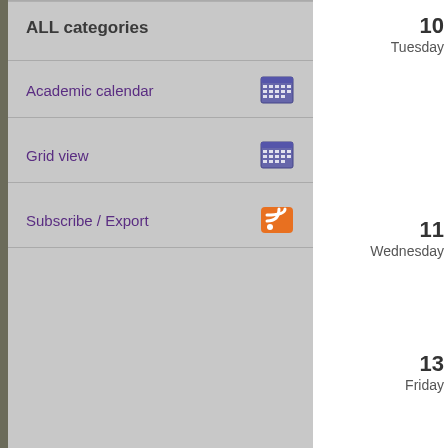ALL categories
Academic calendar
Grid view
Subscribe / Export
10
Tuesday
11
Wednesday
13
Friday